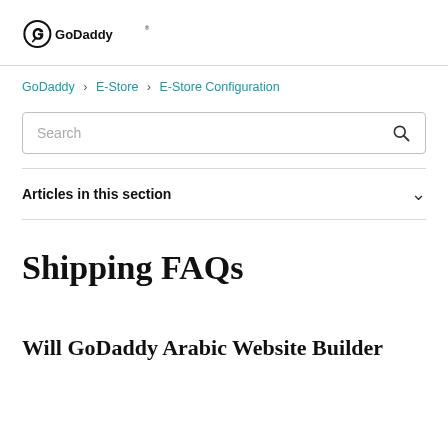[Figure (logo): GoDaddy logo with circular icon and GoDaddy wordmark]
GoDaddy > E-Store > E-Store Configuration
Search
Articles in this section
Shipping FAQs
Will GoDaddy Arabic Website Builder